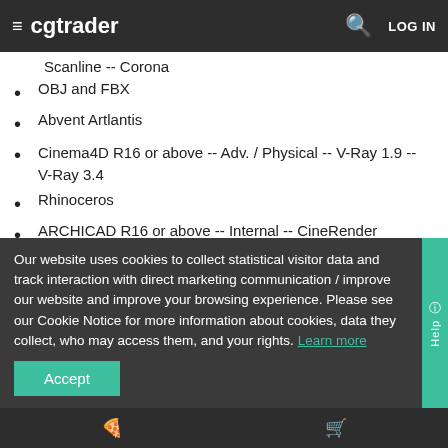≡ cgtrader  🔍  LOG IN
Scanline -- Corona
OBJ and FBX
Abvent Artlantis
Cinema4D R16 or above -- Adv. / Physical -- V-Ray 1.9 -- V-Ray 3.4
Rhinoceros
ARCHICAD R16 or above -- Internal -- CineRender
Our website uses cookies to collect statistical visitor data and track interaction with direct marketing communication / improve our website and improve your browsing experience. Please see our Cookie Notice for more information about cookies, data they collect, who may access them, and your rights. Learn more
Accept